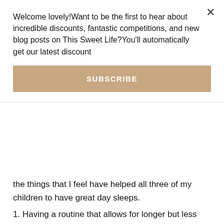Welcome lovely!Want to be the first to hear about incredible discounts, fantastic competitions, and new blog posts on This Sweet Life?You'll automatically get our latest discount
SUBSCRIBE
the things that I feel have helped all three of my children to have great day sleeps.
1. Having a routine that allows for longer but less frequent feeds. The timings of Rosie's feeds are what they are to fit in with her daily sleep requirements.
2. Having a routine that encourages longer sleeps over cat napping. Looking back I have definitely controlled the sleep times rather then having them cat nap whenever they like. They all adjusted into